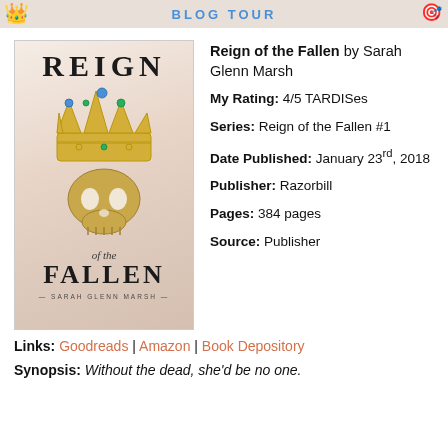BLOG TOUR
[Figure (photo): Book cover of 'Reign of the Fallen' by Sarah Glenn Marsh, showing a golden ornate skull wearing a jeweled crown, with a pink/rose background. Title text reads REIGN of the Fallen, author name SARAH GLENN MARSH.]
Reign of the Fallen by Sarah Glenn Marsh
My Rating: 4/5 TARDISes
Series: Reign of the Fallen #1
Date Published: January 23rd, 2018
Publisher: Razorbill
Pages: 384 pages
Source: Publisher
Links: Goodreads | Amazon | Book Depository
Synopsis: Without the dead, she'd be no one.